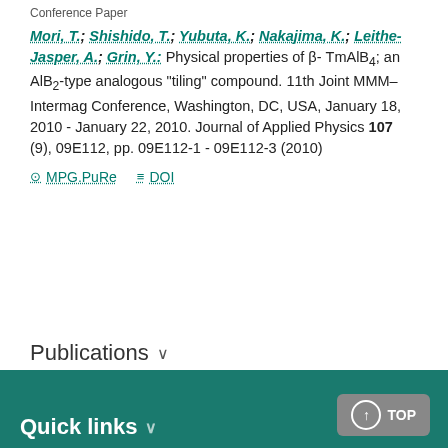Conference Paper
Mori, T.; Shishido, T.; Yubuta, K.; Nakajima, K.; Leithe-Jasper, A.; Grin, Y.: Physical properties of β- TmAlB4; an AlB2-type analogous "tiling" compound. 11th Joint MMM–Intermag Conference, Washington, DC, USA, January 18, 2010 - January 22, 2010. Journal of Applied Physics 107 (9), 09E112, pp. 09E112-1 - 09E112-3 (2010)
MPG.PuRe   DOI
Publications
Quick links